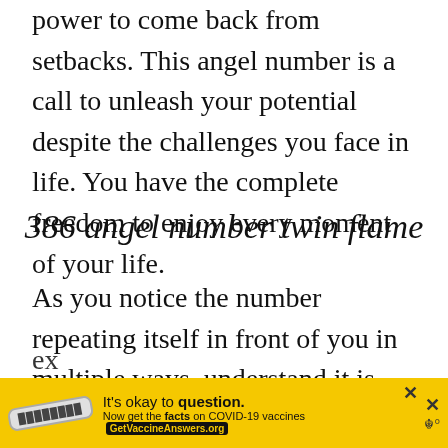power to come back from setbacks. This angel number is a call to unleash your potential despite the challenges you face in life. You have the complete freedom to enjoy every moment of your life.
386 angel number twin flame
As you notice the number repeating itself in front of you in multiple ways, understand it is trying to give you a message. It shouldn't be overlooked, so meditate on the meaning of the number to get guidance. It indicates the ex... (next) y...
[Figure (screenshot): Yellow advertisement banner at the bottom: 'It's okay to question. Now get the facts on COVID-19 vaccines GetVaccineAnswers.org' with a close X button and navigation icons.]